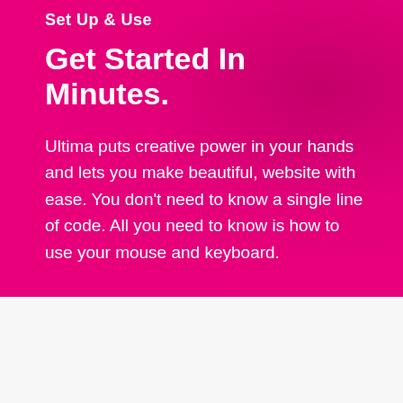Set Up & Use
Get Started In Minutes.
Ultima puts creative power in your hands and lets you make beautiful, website with ease. You don't need to know a single line of code. All you need to know is how to use your mouse and keyboard.
Amazing Features
With a huge collection of powerful